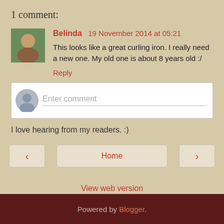1 comment:
Belinda 19 November 2014 at 05:21
This looks like a great curling iron. I really need a new one. My old one is about 8 years old :/
Reply
[Figure (other): Comment entry form with avatar placeholder and 'Enter comment' text field]
I love hearing from my readers. :)
< Home >
View web version
Powered by Blogger.